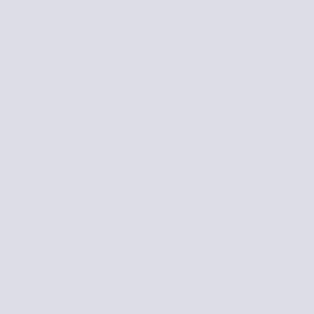Rep
Cara
How c
Thank
I wen
conta
:-)
Perha
though
after v
one w
does
vouch
time c
Also,
think y
not th
Wedn
perha